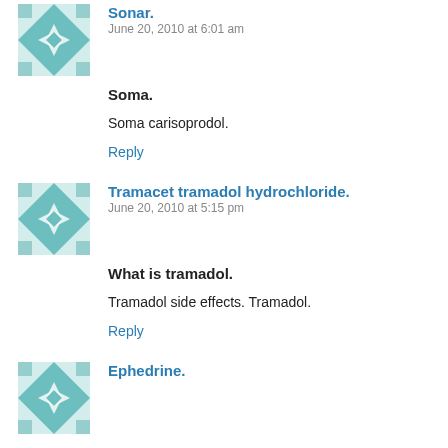[Figure (illustration): Teal/white quilt-pattern avatar icon for first commenter]
Sonar.
June 20, 2010 at 6:01 am
Soma.
Soma carisoprodol.
Reply
[Figure (illustration): Teal/white quilt-pattern avatar icon for second commenter]
Tramacet tramadol hydrochloride.
June 20, 2010 at 5:15 pm
What is tramadol.
Tramadol side effects. Tramadol.
Reply
[Figure (illustration): Teal/white quilt-pattern avatar icon for third commenter]
Ephedrine.